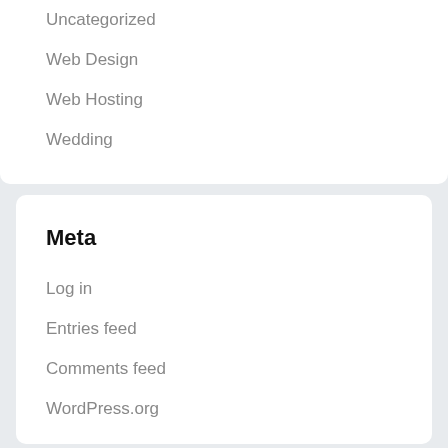Uncategorized
Web Design
Web Hosting
Wedding
Meta
Log in
Entries feed
Comments feed
WordPress.org